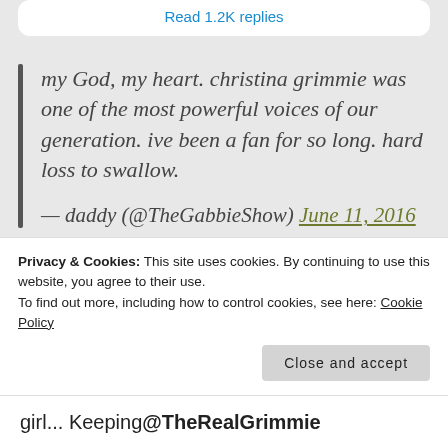Read 1.2K replies
my God, my heart. christina grimmie was one of the most powerful voices of our generation. ive been a fan for so long. hard loss to swallow.

— daddy (@TheGabbieShow) June 11, 2016
Privacy & Cookies: This site uses cookies. By continuing to use this website, you agree to their use.
To find out more, including how to control cookies, see here: Cookie Policy
Close and accept
girl... Keeping @TheRealGrimmie